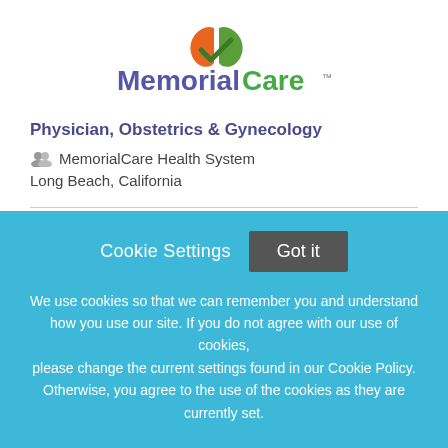[Figure (logo): MemorialCare logo with orange and green leaf icon above the text 'MemorialCare' in purple and green]
Physician, Obstetrics & Gynecology
MemorialCare Health System
Long Beach, California
Cookie Settings  Got it
We use cookies so that we can remember you and understand how you use our site. If you do not agree with our use of cookies, please change the current settings found in our Cookie Policy. Otherwise, you agree to the use of the cookies as they are currently set.